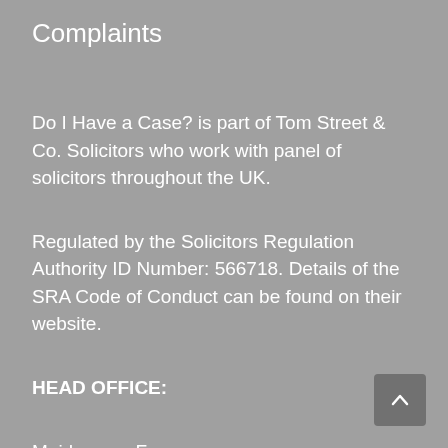Complaints
Do I Have a Case? is part of Tom Street & Co. Solicitors who work with panel of solicitors throughout the UK.
Regulated by the Solicitors Regulation Authority ID Number: 566718. Details of the SRA Code of Conduct can be found on their website.
HEAD OFFICE:
Maidsgrove Farm